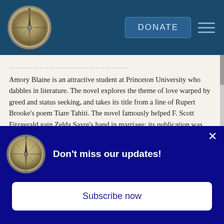[Figure (logo): Compass logo in navigation header bar]
DONATE
Amory Blaine is an attractive student at Princeton University who dabbles in literature. The novel explores the theme of love warped by greed and status seeking, and takes its title from a line of Rupert Brooke's poem Tiare Tahiti. The novel famously helped F. Scott Fitzgerald gain Zelda Sayre's hand in marriage; its publication was her condition of acceptance.”
[Figure (logo): Compass logo in popup notification]
Don't miss our updates!
Subscribe now